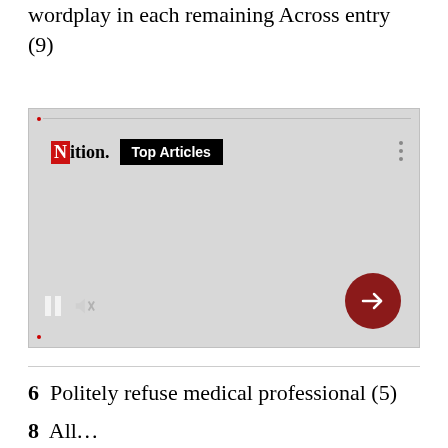wordplay in each remaining Across entry (9)
[Figure (screenshot): An embedded video/ad player with Nation logo, Top Articles button, pause and mute controls, and a red circle arrow button.]
6  Politely refuse medical professional (5)
8  All...              (7)